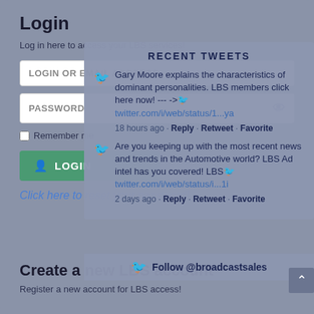Login
Log in here to access your LBS services!
LOGIN OR EMAIL ADDRESS
PASSWORD
Remember me
LOGIN
Click here to reset your password!
RECENT TWEETS
Gary Moore explains the characteristics of dominant personalities. LBS members click here now! --- ->🐦twitter.com/i/web/status/1...ya
18 hours ago · Reply · Retweet · Favorite
Are you keeping up with the most recent news and trends in the Automotive world? LBS Ad intel has you covered! LBS🐦twitter.com/i/web/status/i...1i
2 days ago · Reply · Retweet · Favorite
Follow @broadcastsales
Create a new LBS account
Register a new account for LBS access!